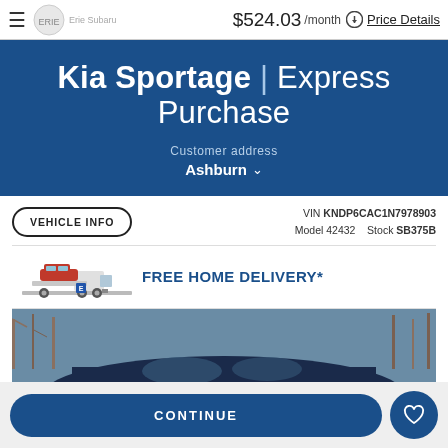≡  Erie Subaru  $524.03 /month  Price Details
Kia Sportage | Express Purchase
Customer address
Ashburn
VEHICLE INFO  VIN KNDP6CAC1N7978903  Model 42432  Stock SB375B
[Figure (illustration): Truck carrying a red SUV on a flatbed, with text FREE HOME DELIVERY* in bold blue]
[Figure (photo): Partial view of a dark blue Kia Sportage SUV parked among bare winter trees]
CONTINUE